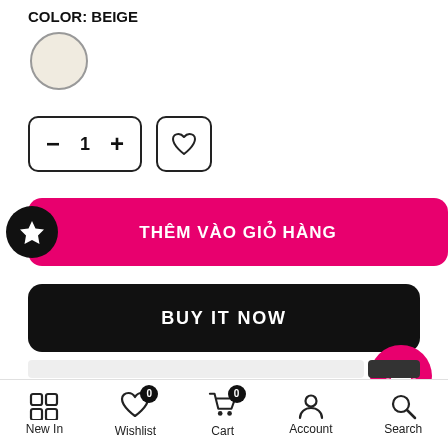COLOR: BEIGE
[Figure (illustration): Beige color swatch circle]
[Figure (illustration): Quantity selector with minus, 1, plus buttons and a wishlist heart button]
[Figure (illustration): Add to cart button (pink) with star badge: THÊM VÀO GIỎ HÀNG]
[Figure (illustration): Buy it now button (black): BUY IT NOW]
[Figure (illustration): Lotus flower badge (pink circle)]
New In   Wishlist   Cart   Account   Search